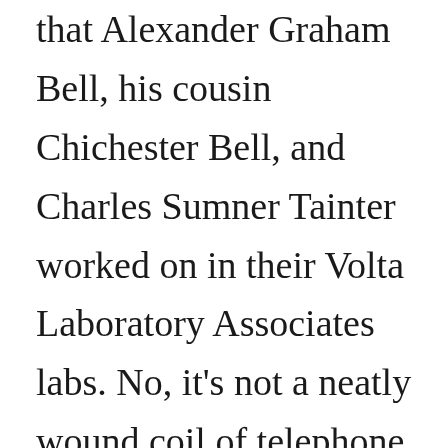that Alexander Graham Bell, his cousin Chichester Bell, and Charles Sumner Tainter worked on in their Volta Laboratory Associates labs. No, it's not a neatly wound coil of telephone cable. It is a section of an